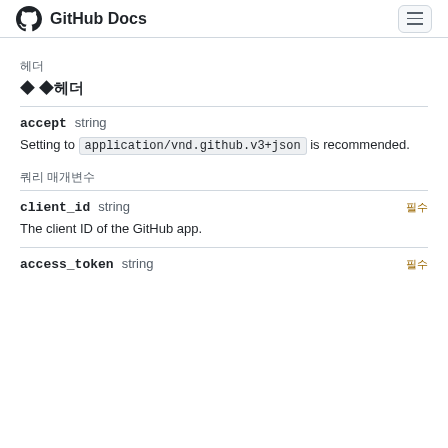GitHub Docs
헤더
◆ ◆헤더
accept   string
Setting to application/vnd.github.v3+json is recommended.
쿼리 매개변수
client_id   string   필수
The client ID of the GitHub app.
access_token   string   필수